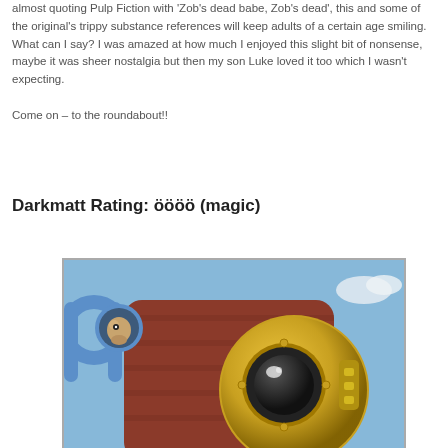almost quoting Pulp Fiction with 'Zob's dead babe, Zob's dead', this and some of the original's trippy substance references will keep adults of a certain age smiling.
What can I say? I was amazed at how much I enjoyed this slight bit of nonsense, maybe it was sheer nostalgia but then my son Luke loved it too which I wasn't expecting.

Come on – to the roundabout!!
Darkmatt Rating: öööö (magic)
[Figure (photo): Animated 3D rendered image showing cartoon characters from The Magic Roundabout movie, featuring a close-up of a golden robot-like character with large eyes and mechanical details, with another small animal character visible in a circular opening in the background. Blue sky visible.]